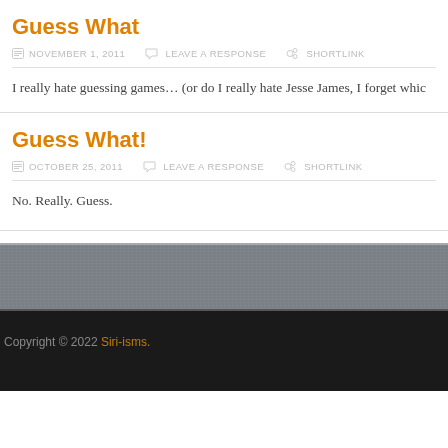Guess What
NOVEMBER 1, 2011   LEAVE A RESPONSE   SHORTLINK
I really hate guessing games… (or do I really hate Jesse James, I forget whic
Guess What!
OCTOBER 25, 2011   LEAVE A RESPONSE   SHORTLINK
No. Really. Guess.
Copyright © 2022 Siri-isms.